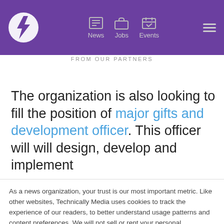[Figure (screenshot): Purple navigation bar with logo (circle with lightning bolt), News, Jobs, Events icons, and hamburger menu]
FROM OUR PARTNERS
The organization is also looking to fill the position of major gifts and development officer. This officer will will design, develop and implement
As a news organization, your trust is our most important metric. Like other websites, Technically Media uses cookies to track the experience of our readers, to better understand usage patterns and content preferences. We will not sell or rent your personal information to third parties. For more information or to contact us, read our entire Ethics & Privacy Policy.
Close